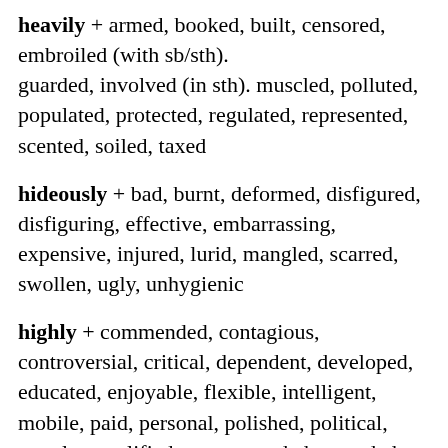heavily + armed, booked, built, censored, embroiled (with sb/sth). guarded, involved (in sth). muscled, polluted, populated, protected, regulated, represented, scented, soiled, taxed
hideously + bad, burnt, deformed, disfigured, disfiguring, effective, embarrassing, expensive, injured, lurid, mangled, scarred, swollen, ugly, unhygienic
highly + commended, contagious, controversial, critical, dependent, developed, educated, enjoyable, flexible, intelligent, mobile, paid, personal, polished, political, popular, qualified, recommended, regarded, relevant, resistant, respected, significant, skilled, technical, toxic,